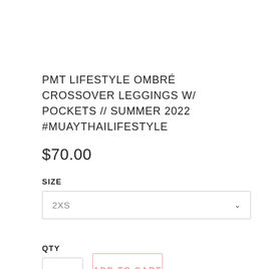PMT LIFESTYLE OMBRÉ CROSSOVER LEGGINGS W/ POCKETS // SUMMER 2022 #MUAYTHAILIFESTYLE
$70.00
SIZE
2XS
QTY
1
ADD TO CART